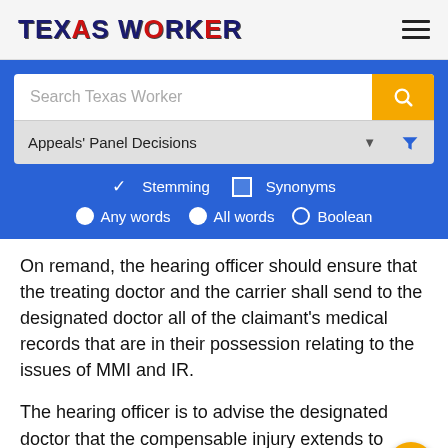TEXAS WORKER
[Figure (screenshot): Search interface with search bar, Appeals Panel Decisions dropdown, Stemming/Synonyms checkboxes, and Any words/All words/Boolean radio buttons on a blue background]
On remand, the hearing officer should ensure that the treating doctor and the carrier shall send to the designated doctor all of the claimant's medical records that are in their possession relating to the issues of MMI and IR.
The hearing officer is to advise the designated doctor that the compensable injury extends to compression